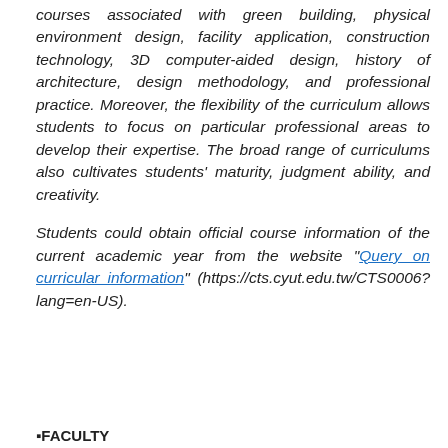courses associated with green building, physical environment design, facility application, construction technology, 3D computer-aided design, history of architecture, design methodology, and professional practice. Moreover, the flexibility of the curriculum allows students to focus on particular professional areas to develop their expertise. The broad range of curriculums also cultivates students' maturity, judgment ability, and creativity.
Students could obtain official course information of the current academic year from the website "Query on curricular information" (https://cts.cyut.edu.tw/CTS0006?lang=en-US).
▪FACULTY